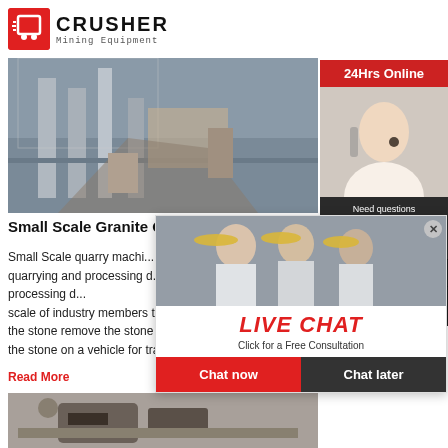[Figure (logo): Crusher Mining Equipment logo with red shopping bag icon and bold text]
[Figure (photo): Small scale granite quarry machinery — industrial processing plant with workers and equipment]
Small Scale Granite Quarry Machi...
Small Scale quarry machi... quarrying and processing d... scale of industry members the vast diversity of the stone remove the stone using heavy machin... the stone on a vehicle for transport
Read More
[Figure (photo): Heavy mining/quarry equipment vehicle on dirt surface]
[Figure (infographic): Right sidebar with 24Hrs Online banner, customer service agent photo, Need questions & suggestion chat now button, Enquiry section, and limingjlmofen@sina.com email]
[Figure (infographic): Live Chat popup overlay with workers photo, LIVE CHAT text, Click for a Free Consultation, Chat now and Chat later buttons]